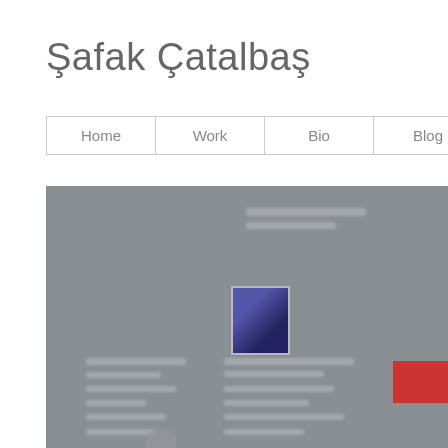Şafak Çatalbaş
Home
Work
Bio
Blog
Contact
[Figure (screenshot): Blurred screenshot of a website or social media profile page showing a person's profile image, text content, and a red button element on a grey background.]